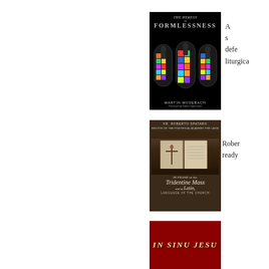[Figure (photo): Book cover: The Heresy of Formlessness - The Roman Liturgy and Its Enemy, by Martin Mosebach. Dark background with stained glass window imagery in vibrant colors. Revised and expanded edition. Foreword by Robert Spaemann.]
A s defended liturgica
[Figure (photo): Book cover: In Praise of the Tridentine Mass and of Latin, Language of the Church. By Fr. Roberto Spataro. Features an image of an open liturgical book with a crucifix.]
Rober ready
[Figure (photo): Book cover: In Sinu Jesu. Dark red background with gold italic title text.]